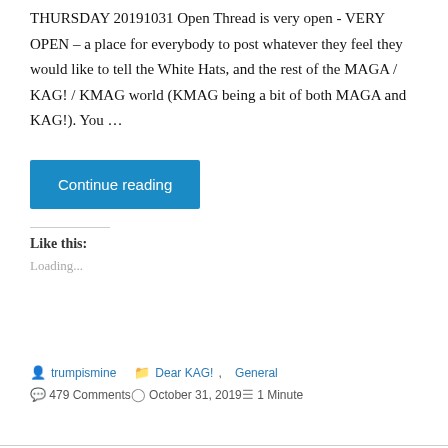THURSDAY 20191031 Open Thread is very open - VERY OPEN – a place for everybody to post whatever they feel they would like to tell the White Hats, and the rest of the MAGA / KAG! / KMAG world (KMAG being a bit of both MAGA and KAG!). You …
Continue reading
Like this:
Loading...
trumpismine   Dear KAG!, General   479 Comments   October 31, 2019   1 Minute